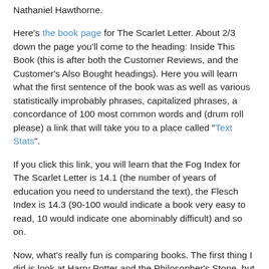Nathaniel Hawthorne.
Here's the book page for The Scarlet Letter. About 2/3 down the page you'll come to the heading: Inside This Book (this is after both the Customer Reviews, and the Customer's Also Bought headings). Here you will learn what the first sentence of the book was as well as various statistically improbably phrases, capitalized phrases, a concordance of 100 most common words and (drum roll please) a link that will take you to a place called "Text Stats".
If you click this link, you will learn that the Fog Index for The Scarlet Letter is 14.1 (the number of years of education you need to understand the text), the Flesch Index is 14.3 (90-100 would indicate a book very easy to read, 10 would indicate one abominably difficult) and so on.
Now, what's really fun is comparing books. The first thing I did is look at Harry Potter and the Philosopher's Stone, but it didn't have readability statistics. In a mischievous mood I pulled up Twilight, but while it did display certain readability statistics, the text stats were missing.